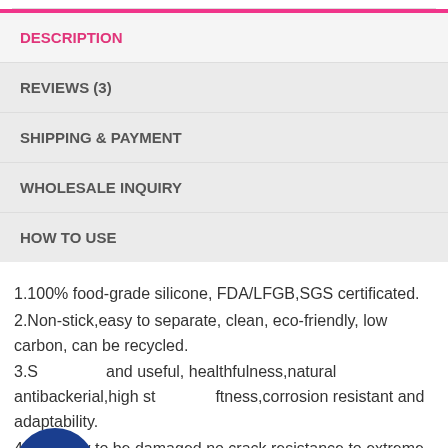DESCRIPTION
REVIEWS (3)
SHIPPING & PAYMENT
WHOLESALE INQUIRY
HOW TO USE
1.100% food-grade silicone, FDA/LFGB,SGS certificated.
2.Non-stick,easy to separate, clean, eco-friendly, low carbon, can be recycled.
3.S...and useful, healthfulness,natural antibackerial,high st...ftness,corrosion resistant and adaptability.
4.Not easy to be damaged,no crack,resistance to extreme temperature -40 centigrade degrees to 230 centigrade degrees.